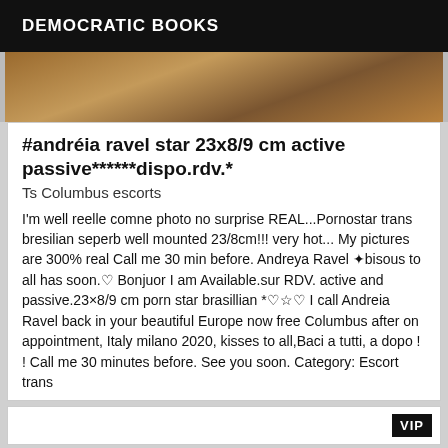DEMOCRATIC BOOKS
[Figure (photo): Close-up photo of wooden surface with warm brown tones]
#andréia ravel star 23x8/9 cm active passive******dispo.rdv.*
Ts Columbus escorts
I'm well reelle comne photo no surprise REAL...Pornostar trans bresilian seperb well mounted 23/8cm!!! very hot... My pictures are 300% real Call me 30 min before. Andreya Ravel ✦bisous to all has soon.♡ Bonjuor I am Available.sur RDV. active and passive.23×8/9 cm porn star brasillian *♡☆♡ I call Andreia Ravel back in your beautiful Europe now free Columbus after on appointment, Italy milano 2020, kisses to all,Baci a tutti, a dopo ! ! Call me 30 minutes before. See you soon. Category: Escort trans